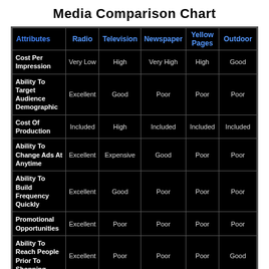Media Comparison Chart
| Attributes | Radio | Television | Newspaper | Yellow Pages | Outdoor |
| --- | --- | --- | --- | --- | --- |
| Cost Per Impression | Very Low | High | Very High | High | Good |
| Ability To Target Audience Demographic | Excellent | Good | Poor | Poor | Poor |
| Cost Of Production | Included | High | Included | Included | Included |
| Ability To Change Ads At Anytime | Excellent | Expensive | Good | Poor | Poor |
| Ability To Build Frequency Quickly | Excellent | Good | Poor | Poor | Poor |
| Promotional Opportunities | Excellent | Poor | Poor | Poor | Poor |
| Ability To Reach People Prior To Shopping | Excellent | Poor | Poor | Poor | Good |